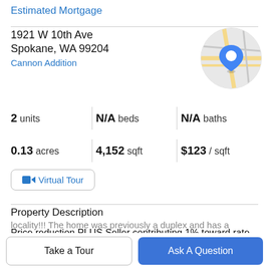Estimated Mortgage
1921 W 10th Ave
Spokane, WA 99204
Cannon Addition
[Figure (map): Circular map thumbnail showing street map with blue location pin marker]
2 units
N/A beds
N/A baths
0.13 acres
4,152 sqft
$123 / sqft
Virtual Tour
Property Description
Price reduction PLUS Seller contributing 1% toward rate buy down!!! Just steps to the bluff trails & minutes to locality!!! The home was previously a duplex and has a
Take a Tour
Ask A Question